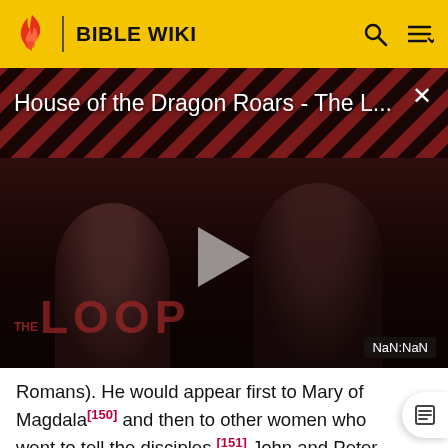BIBLE WIKI
[Figure (screenshot): Video thumbnail overlay showing 'House of the Dragon Roars - The L...' with a play button, two silhouetted people, diagonal red/black stripes, 'THE LOOP' text, and a NaN:NaN time badge. A close (×) button appears top right.]
Romans). He would appear first to Mary of Magdala[150] and then to other women who went to tell the disciples.[151] John and Peter ran to see for themselves,[152] but Jesus waited until later to show Himself to them.[153] He would, however, show himself to